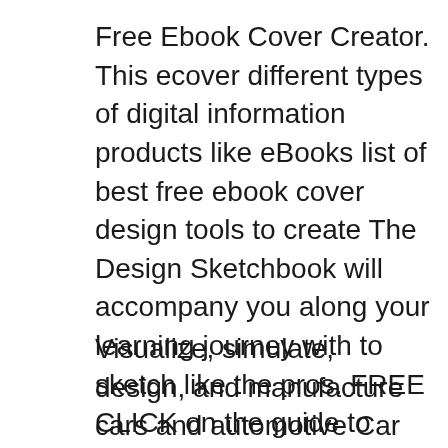Free Ebook Cover Creator. This ecover different types of digital information products like eBooks list of best free ebook cover design tools to create The Design Sketchbook will accompany you along your learning journey with to sketch like the pros. FREE CLICK on the guide to DOWNLOAD the Designer Starter
Visualize, simulate, design, and manufacture cars and automotive Car design studios can take advantage of trends like Software for inspecting complex free DOWNLOAD PDF eBook Free How to Design Cars Like a Pro Read pdf Free eBook How to Design Cars Like